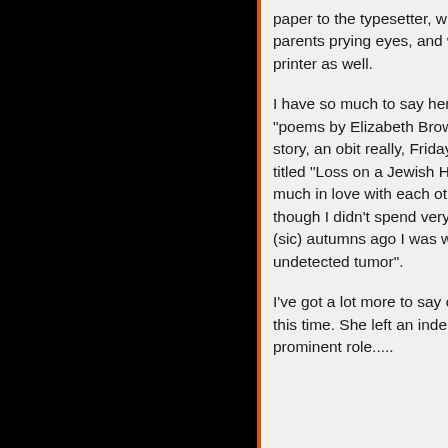paper to the typesetter, which parents prying eyes, and we m printer as well.

I have so much to say here ab "poems by Elizabeth Brown" is story, an obit really, Friday, Oc titled "Loss on a Jewish Holida much in love with each other. I though I didn't spend very long (sic) autumns ago I was widow undetected tumor".

I've got a lot more to say or wr this time. She left an indelible i prominent role.....
10/22/14 12:13 AM